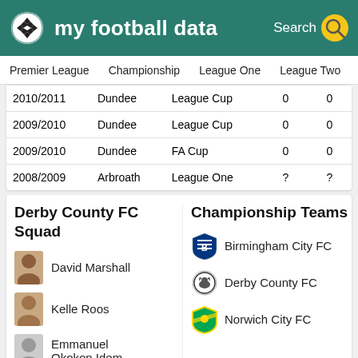my football data
Premier League  Championship  League One  League Two
| Season | Team | Competition | Col4 | Col5 |
| --- | --- | --- | --- | --- |
| 2010/2011 | Dundee | League Cup | 0 | 0 |
| 2009/2010 | Dundee | League Cup | 0 | 0 |
| 2009/2010 | Dundee | FA Cup | 0 | 0 |
| 2008/2009 | Arbroath | League One | ? | ? |
Derby County FC Squad
Championship Teams
David Marshall
Kelle Roos
Emmanuel Okokon Idem
Andre Wisdom
Birmingham City FC
Derby County FC
Norwich City FC